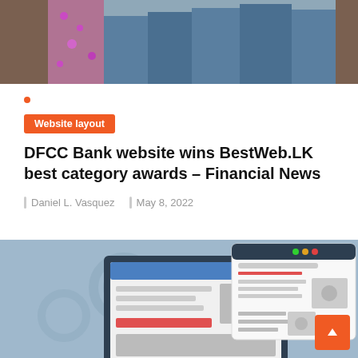[Figure (photo): Group photo of people standing together, cropped to show their torsos and legs]
Website layout
DFCC Bank website wins BestWeb.LK best category awards – Financial News
Daniel L. Vasquez   May 8, 2022
[Figure (illustration): Illustration of computer monitors showing website layout designs on a blue-grey background with gear watermarks]